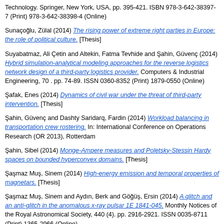Technology. Springer, New York, USA, pp. 395-421. ISBN 978-3-642-38397-7 (Print) 978-3-642-38398-4 (Online)
Sunaçoğlu, Zülal (2014) The rising power of extreme right parties in Europe: the role of political culture. [Thesis]
Suyabatmaz, Ali Çetin and Altekin, Fatma Tevhide and Şahin, Güvenç (2014) Hybrid simulation-analytical modeling approaches for the reverse logistics network design of a third-party logistics provider. Computers & Industrial Engineering, 70 . pp. 74-89. ISSN 0360-8352 (Print) 1879-0550 (Online)
Şafak, Enes (2014) Dynamics of civil war under the threat of third-party intervention. [Thesis]
Şahin, Güvenç and Dashty Saridarq, Fardin (2014) Workload balancing in transportation crew rostering. In: International Conference on Operations Research (OR 2013), Rotterdam
Şahin, Sibel (2014) Monge-Ampere measures and Poletsky-Stessin Hardy spaces on bounded hyperconvex domains. [Thesis]
Şaşmaz Muş, Sinem (2014) High-energy emission and temporal properties of magnetars. [Thesis]
Şaşmaz Muş, Sinem and Aydın, Berk and Göğüş, Ersin (2014) A glitch and an anti-glitch in the anomalous x-ray pulsar 1E 1841-045. Monthly Notices of the Royal Astronomical Society, 440 (4). pp. 2916-2921. ISSN 0035-8711 (Print) 1365-2966 (Online)
Şen, Mehmet Umut and Erdoğan, Hakan (2014) Learning word representations for Turkish (Türkçe için kelime temsillerinin öğrenimi). In: 32nd Signal Processing and Communications Applications Conference (SIU